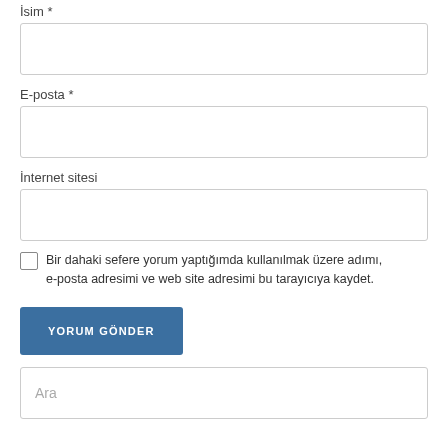İsim *
E-posta *
İnternet sitesi
Bir dahaki sefere yorum yaptığımda kullanılmak üzere adımı, e-posta adresimi ve web site adresimi bu tarayıcıya kaydet.
YORUM GÖNDER
Ara